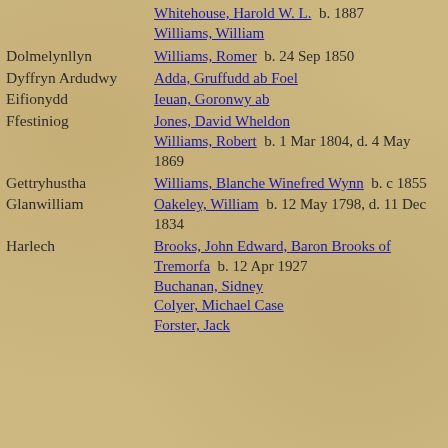Whitehouse, Harold W. L. b. 1887
Williams, William
Dolmelynllyn
Williams, Romer b. 24 Sep 1850
Dyffryn Ardudwy
Adda, Gruffudd ab Foel
Eifionydd
Ieuan, Goronwy ab
Ffestiniog
Jones, David Wheldon
Williams, Robert b. 1 Mar 1804, d. 4 May 1869
Gettryhustha
Williams, Blanche Winefred Wynn b. c 1855
Glanwilliam
Oakeley, William b. 12 May 1798, d. 11 Dec 1834
Harlech
Brooks, John Edward, Baron Brooks of Tremorfa b. 12 Apr 1927
Buchanan, Sidney
Colyer, Michael Case
Forster, Jack